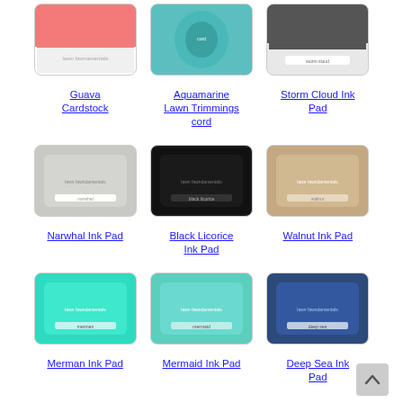[Figure (photo): Guava Cardstock product image - pink card]
Guava Cardstock
[Figure (photo): Aquamarine Lawn Trimmings cord - teal thread spool]
Aquamarine Lawn Trimmings cord
[Figure (photo): Storm Cloud Ink Pad - dark grey ink pad]
Storm Cloud Ink Pad
[Figure (photo): Narwhal Ink Pad - grey ink pad]
Narwhal Ink Pad
[Figure (photo): Black Licorice Ink Pad - black ink pad]
Black Licorice Ink Pad
[Figure (photo): Walnut Ink Pad - brown ink pad]
Walnut Ink Pad
[Figure (photo): Merman Ink Pad - bright teal ink pad]
Merman Ink Pad
[Figure (photo): Mermaid Ink Pad - light teal ink pad]
Mermaid Ink Pad
[Figure (photo): Deep Sea Ink Pad - dark navy ink pad]
Deep Sea Ink Pad